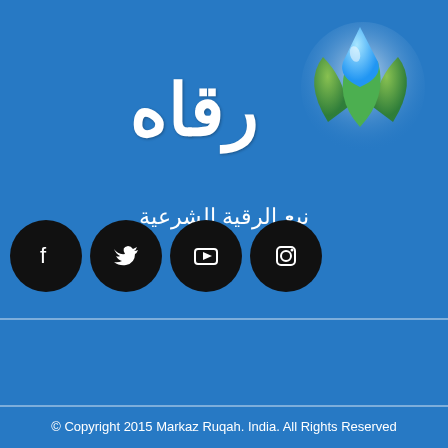[Figure (logo): Ruqah brand logo with Arabic text رقاه and subtitle نبع الرقية الشرعية, accompanied by a water drop and green leaves icon, on a blue background with social media icons (Facebook, Twitter, YouTube, Instagram)]
© Copyright 2015 Markaz Ruqah. India. All Rights Reserved